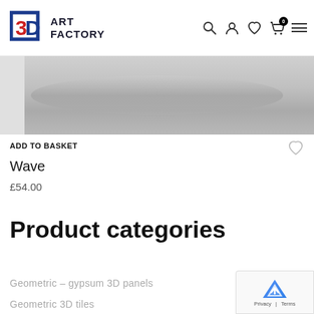3D Art Factory
[Figure (photo): Product image showing a wave 3D panel, grey gradient metallic surface]
ADD TO BASKET
Wave
£54.00
Product categories
Geometric – gypsum 3D panels
Geometric 3D tiles